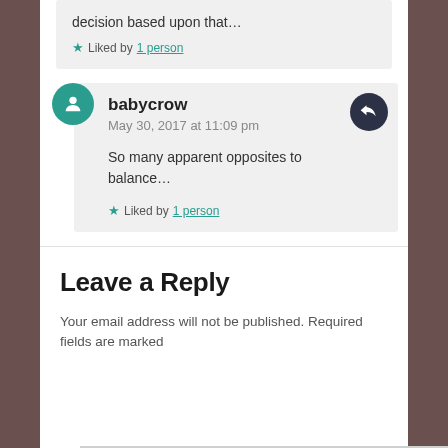decision based upon that…
★ Liked by 1 person
babycrow
May 30, 2017 at 11:09 pm

So many apparent opposites to balance…

★ Liked by 1 person
Leave a Reply
Your email address will not be published. Required fields are marked